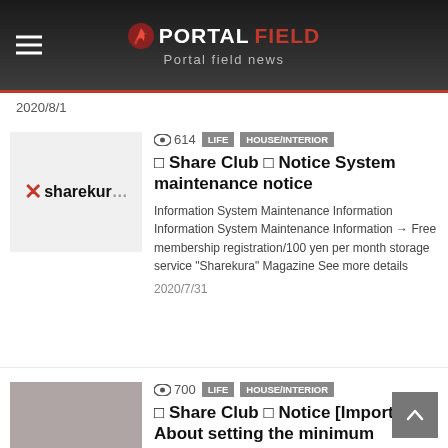PORTALFIELD Portal field news
2020/8/1
[Figure (screenshot): Sharekura logo thumbnail — white/light gray background with red X mark and text 'sharekura']
614  LIFE  HOUSE/INTERIOR
□ Share Club □ Notice System maintenance notice
Information System Maintenance Information Information System Maintenance Information → Free membership registration/100 yen per month storage service "Sharekura" Magazine See more details
2020/7/31
[Figure (photo): Gray/mauve colored thumbnail square]
700  LIFE  HOUSE/INTERIOR
□ Share Club □ Notice [Important] About setting the minimum storage period